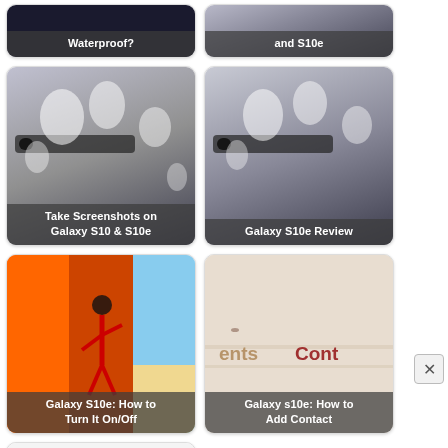[Figure (screenshot): Card: Is the Galaxy S10e Waterproof? - dark background with phone image, partial top]
[Figure (screenshot): Card: Galaxy S10, S10+ and S10e - dark background with phone image, partial top]
[Figure (screenshot): Card: Take Screenshots on Galaxy S10 & S10e - phone with water droplets on camera]
[Figure (screenshot): Card: Galaxy S10e Review - phone with water droplets on back]
[Figure (screenshot): Card: Galaxy S10e: How to Turn It On/Off - colorful animated wallpaper screens]
[Figure (screenshot): Card: Galaxy s10e: How to Add Contact - sandy/paper background with contacts text overlay]
[Figure (screenshot): Card: partial empty card at bottom left]